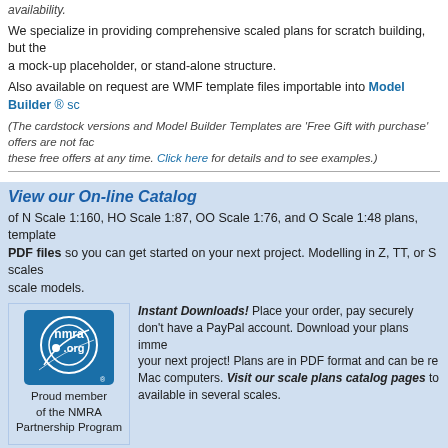availability.
We specialize in providing comprehensive scaled plans for scratch building, but the a mock-up placeholder, or stand-alone structure.
Also available on request are WMF template files importable into Model Builder ® sc
(The cardstock versions and Model Builder Templates are 'Free Gift with purchase' offers are not fac these free offers at any time. Click here for details and to see examples.
View our On-line Catalog
of N Scale 1:160, HO Scale 1:87, OO Scale 1:76, and O Scale 1:48 plans,  template PDF files so you can get started on your next project. Modelling in Z, TT, or S scales scale models.
[Figure (logo): NMRA.org logo - Proud member of the NMRA Partnership Program]
Instant Downloads! Place your order, pay securely don't have a PayPal account. Download your plans imme your next project! Plans are in PDF format and can be re Mac computers. Visit our scale plans catalog pages to available in several scales.
Garden Scale Plans - see our companion site
Catalog - Select a category of available scale model structure plans.
All Str
[Figure (photo): New/Specials category thumbnail - red barn structure]
[Figure (photo): Trackside category thumbnail - tower structure]
[Figure (photo): Bridges category thumbnail - steel truss bridge]
[Figure (photo): Commercial category thumbnail - gas station]
[Figure (photo): Industri... category thumbnail]
New/Specials
Trackside
Bridges
Commercial
Industr...